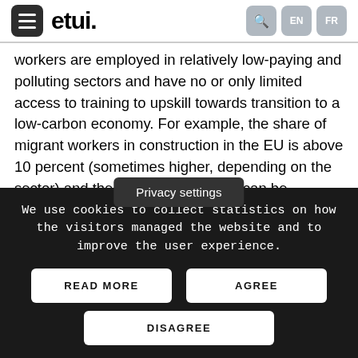etui. EN FR
workers are employed in relatively low-paying and polluting sectors and have no or only limited access to training to upskill towards transition to a low-carbon economy. For example, the share of migrant workers in construction in the EU is above 10 percent (sometimes higher, depending on the sector) and the working conditions can be abysmal (Bérastégui 2021). Other people from ethnic mi...ma communities, have
Privacy settings
We use cookies to collect statistics on how the visitors managed the website and to improve the user experience.
READ MORE
AGREE
DISAGREE